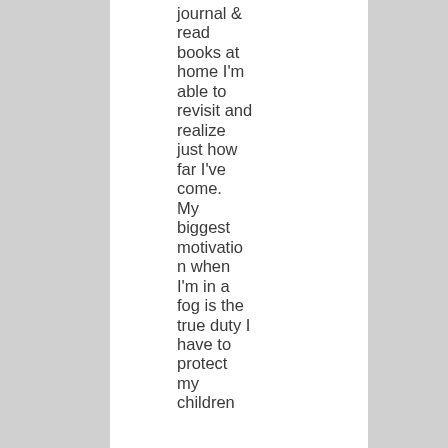journal & read books at home I'm able to revisit and realize just how far I've come. My biggest motivation when I'm in a fog is the true duty I have to protect my children